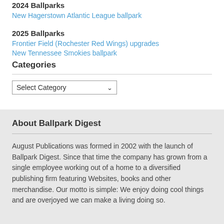2024 Ballparks
New Hagerstown Atlantic League ballpark
2025 Ballparks
Frontier Field (Rochester Red Wings) upgrades
New Tennessee Smokies ballpark
Categories
[Figure (screenshot): Select Category dropdown widget]
About Ballpark Digest
August Publications was formed in 2002 with the launch of Ballpark Digest. Since that time the company has grown from a single employee working out of a home to a diversified publishing firm featuring Websites, books and other merchandise. Our motto is simple: We enjoy doing cool things and are overjoyed we can make a living doing so.